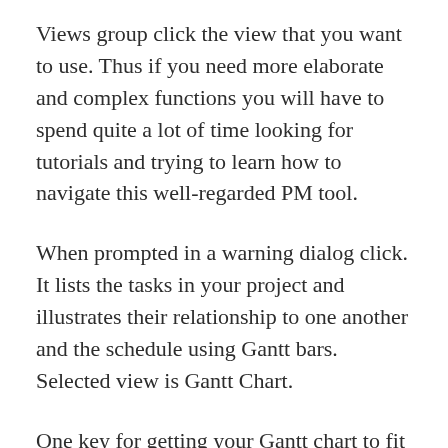Views group click the view that you want to use. Thus if you need more elaborate and complex functions you will have to spend quite a lot of time looking for tutorials and trying to learn how to navigate this well-regarded PM tool.
When prompted in a warning dialog click. It lists the tasks in your project and illustrates their relationship to one another and the schedule using Gantt bars. Selected view is Gantt Chart.
One key for getting your Gantt chart to fit on